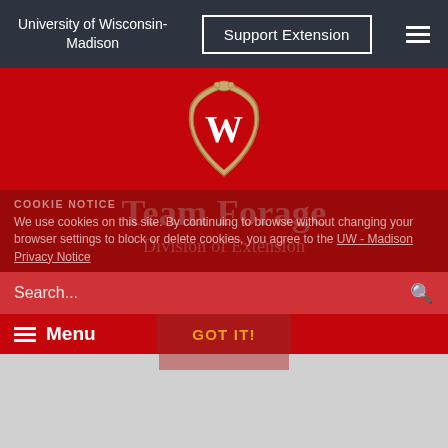University of Wisconsin-Madison
Support Extension
[Figure (logo): University of Wisconsin-Madison crest/shield logo with W emblem on red background with decorative gold border]
Team Forage
Division of Extension
COOKIE NOTICE
We use cookies on this site. By continuing to browse without changing your browser settings to block or delete cookies, you agree to the UW - Madison Privacy Notice
Search...
Menu
GOT IT!